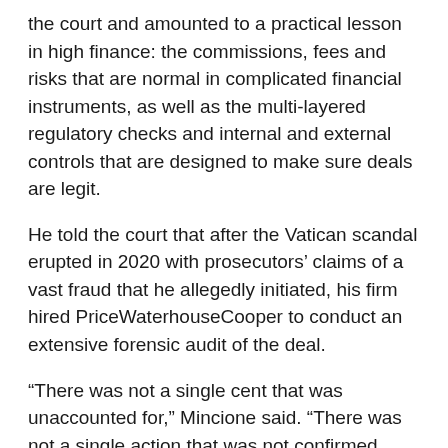the court and amounted to a practical lesson in high finance: the commissions, fees and risks that are normal in complicated financial instruments, as well as the multi-layered regulatory checks and internal and external controls that are designed to make sure deals are legit.
He told the court that after the Vatican scandal erupted in 2020 with prosecutors' claims of a vast fraud that he allegedly initiated, his firm hired PriceWaterhouseCooper to conduct an extensive forensic audit of the deal.
“There was not a single cent that was unaccounted for,” Mincione said. “There was not a single action that was not confirmed. There was not a single expert report that was judged incongruous.”
Mincione said he got involved in the deal when Credit Suisse, where the Vatican had some 200 million euros invested, asked him to evaluate a potential deal in an